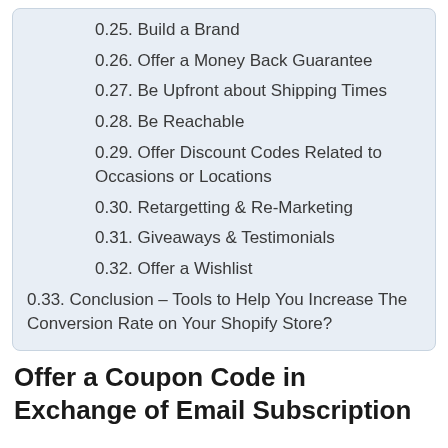0.25. Build a Brand
0.26. Offer a Money Back Guarantee
0.27. Be Upfront about Shipping Times
0.28. Be Reachable
0.29. Offer Discount Codes Related to Occasions or Locations
0.30. Retargetting & Re-Marketing
0.31. Giveaways & Testimonials
0.32. Offer a Wishlist
0.33. Conclusion – Tools to Help You Increase The Conversion Rate on Your Shopify Store?
Offer a Coupon Code in Exchange of Email Subscription